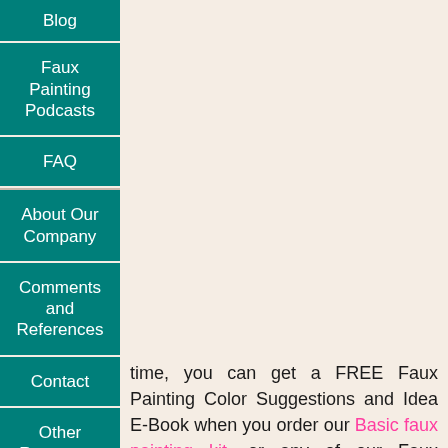Blog
Faux Painting Podcasts
FAQ
About Our Company
Comments and References
Contact
Other Resources
time, you can get a FREE Faux Painting Color Suggestions and Idea E-Book when you order our Basic faux painting kit, or any of our Faux Painitng Combo kits. You will be emailed a link to be able to download your E-Book to your computer. You can print the E-Book for your personal use, too (all copyrights reserved.
So far there are over 23 faux painting suggestions for you to